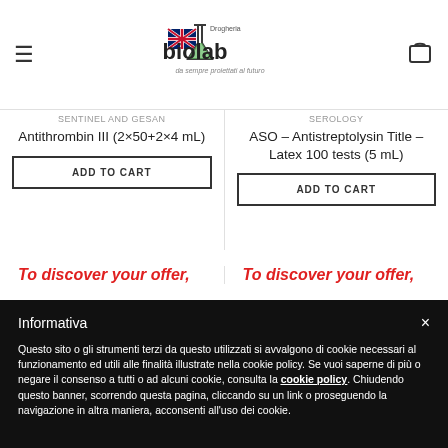[Figure (logo): Biolab Drogheria logo with flask icon and UK flag, tagline 'da sempre proiettati al futuro']
SENTINEL AND GESAN
Antithrombin III (2×50+2×4 mL)
ADD TO CART
SEROLOGY
ASO – Antistreptolysin Title – Latex 100 tests (5 mL)
ADD TO CART
To discover your offer,
To discover your offer,
Informativa
Questo sito o gli strumenti terzi da questo utilizzati si avvalgono di cookie necessari al funzionamento ed utili alle finalità illustrate nella cookie policy. Se vuoi saperne di più o negare il consenso a tutti o ad alcuni cookie, consulta la cookie policy. Chiudendo questo banner, scorrendo questa pagina, cliccando su un link o proseguendo la navigazione in altra maniera, acconsenti all'uso dei cookie.